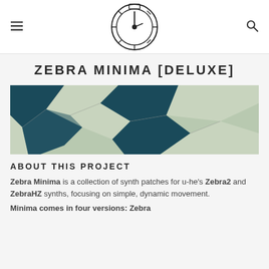☰ [logo] 🔍
ZEBRA MINIMA [DELUXE]
[Figure (photo): Abstract photo of cracked dried earth or broken pieces with teal/dark blue and light beige coloring]
ABOUT THIS PROJECT
Zebra Minima is a collection of synth patches for u-he's Zebra2 and ZebraHZ synths, focusing on simple, dynamic movement.
Minima comes in four versions: Zebra...